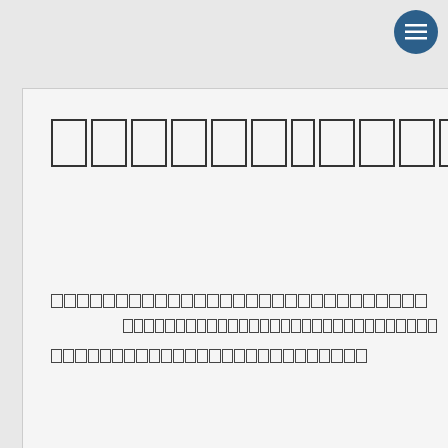[Figure (other): Circular dark blue menu/hamburger icon button in top right corner]
[redacted/unreadable outlined rectangle characters - approximately 14 boxes]
[redacted text row 1 left segment]
[redacted text row 1 right segment]
[redacted text row 2]
[redacted text row 3]